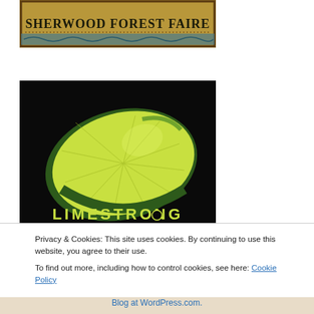[Figure (illustration): Sherwood Forest Faire decorative banner with ornate medieval-style text and border patterns]
[Figure (photo): Dark background photo of a lime wedge slice with 'LIMESTRONG' text and 'INTERNATIONAL SCURVY AWARENESS DAY · MAY 2ND' subtitle at bottom]
Privacy & Cookies: This site uses cookies. By continuing to use this website, you agree to their use.
To find out more, including how to control cookies, see here: Cookie Policy
Close and accept
Blog at WordPress.com.